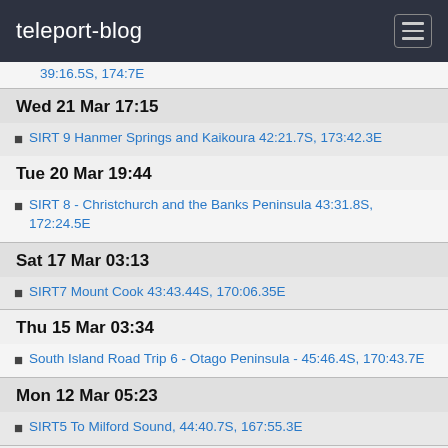teleport-blog
39:16.5S, 174:7E
Wed 21 Mar 17:15
SIRT 9 Hanmer Springs and Kaikoura 42:21.7S, 173:42.3E
Tue 20 Mar 19:44
SIRT 8 - Christchurch and the Banks Peninsula 43:31.8S, 172:24.5E
Sat 17 Mar 03:13
SIRT7 Mount Cook 43:43.44S, 170:06.35E
Thu 15 Mar 03:34
South Island Road Trip 6 - Otago Peninsula - 45:46.4S, 170:43.7E
Mon 12 Mar 05:23
SIRT5 To Milford Sound, 44:40.7S, 167:55.3E
Fri 9 Mar 01:33
SIRT4, Franz Josef and Lake Wanaka 44:26.5S, 169:14.6E
Wed 7 Mar 03:43